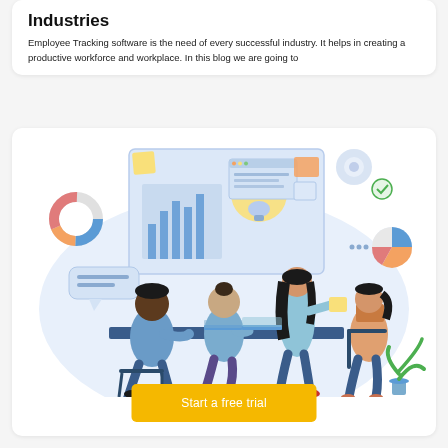Industries
Employee Tracking software is the need of every successful industry. It helps in creating a productive workforce and workplace. In this blog we are going to
[Figure (illustration): Flat illustration of a team meeting: four people around a table with laptops, one person standing and presenting. Background shows a whiteboard with bar chart and lightbulb, a donut chart, a pie chart, a gear icon, a chat bubble, sticky notes, and a potted plant.]
Start a free trial